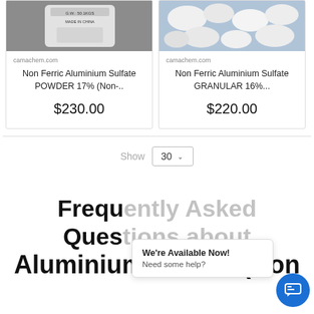[Figure (photo): Product card image: white bag of powder labeled G.W. 50.1KGS MADE IN CHINA on grey background]
camachem.com
Non Ferric Aluminium Sulfate POWDER 17% (Non-..
$230.00
[Figure (photo): Product card image: white granular chunks on blue background]
camachem.com
Non Ferric Aluminium Sulfate GRANULAR 16%...
$220.00
Show
30
Frequently Asked Questions about Aluminium Sulfate (Non
We're Available Now! Need some help?